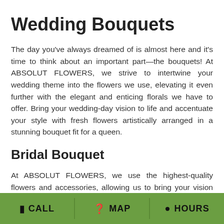Wedding Bouquets
The day you've always dreamed of is almost here and it's time to think about an important part—the bouquets! At ABSOLUT FLOWERS, we strive to intertwine your wedding theme into the flowers we use, elevating it even further with the elegant and enticing florals we have to offer. Bring your wedding-day vision to life and accentuate your style with fresh flowers artistically arranged in a stunning bouquet fit for a queen.
Bridal Bouquet
At ABSOLUT FLOWERS, we use the highest-quality flowers and accessories, allowing us to bring your vision for your bridal bouquet to life. Artfully
CALL  MAP  HOURS